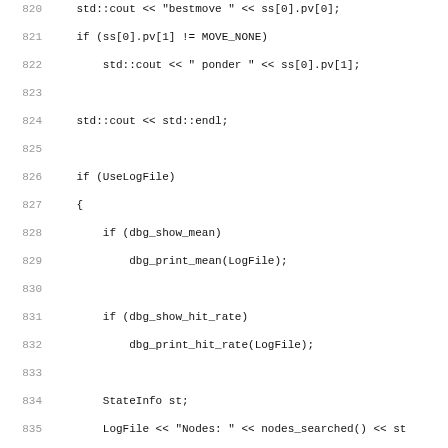[Figure (screenshot): Source code listing in C++ showing lines 820-851 of a chess engine search function, including bestmove output, log file operations, and a comment about root_search().]